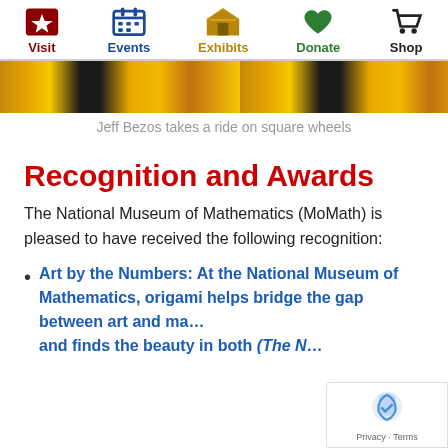Visit | Events | Exhibits | Donate | Shop
[Figure (photo): A yellow and black image, partial view of a person riding a square-wheeled vehicle.]
Jeff Bezos takes a ride on square wheels
Recognition and Awards
The National Museum of Mathematics (MoMath) is pleased to have received the following recognition:
Art by the Numbers: At the National Museum of Mathematics, origami helps bridge the gap between art and ma… and finds the beauty in both (The N…